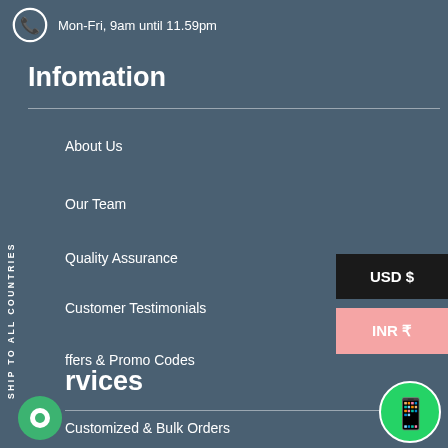Mon-Fri, 9am until 11.59pm
Infomation
About Us
Our Team
Quality Assurance
Customer Testimonials
ffers & Promo Codes
USD $
INR ₹
SHIP TO ALL COUNTRIES
rvices
Customized & Bulk Orders